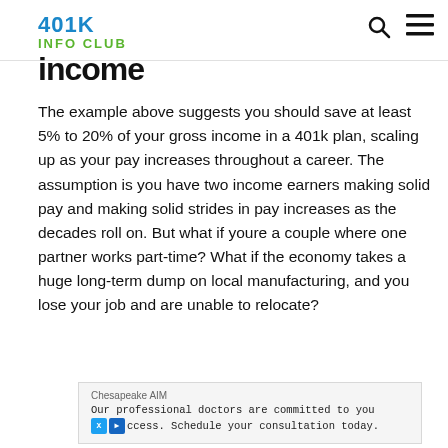401K INFO CLUB
income
The example above suggests you should save at least 5% to 20% of your gross income in a 401k plan, scaling up as your pay increases throughout a career. The assumption is you have two income earners making solid pay and making solid strides in pay increases as the decades roll on. But what if youre a couple where one partner works part-time? What if the economy takes a huge long-term dump on local manufacturing, and you lose your job and are unable to relocate?
[Figure (other): Advertisement banner: Chesapeake AIM. Our professional doctors are committed to your success. Schedule your consultation today.]